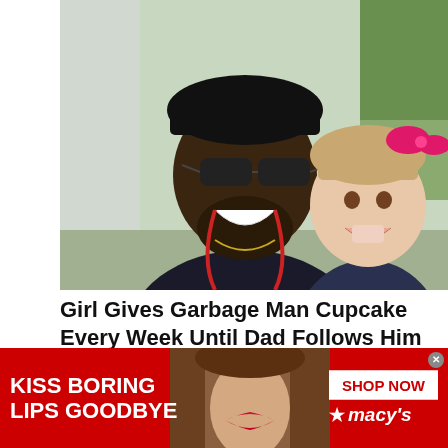[Figure (photo): A man wearing sunglasses and a black cap smiling alongside a young girl with a pink bow in her hair. Both are smiling at the camera in an outdoor setting.]
Girl Gives Garbage Man Cupcake Every Week Until Dad Follows Him and Sees Why
HEALTHYGEM
[Figure (photo): Partial photo strip visible below the headline, cropped]
[Figure (photo): Advertisement banner: Kiss Boring Lips Goodbye - Macy's Shop Now ad featuring a woman with red lips]